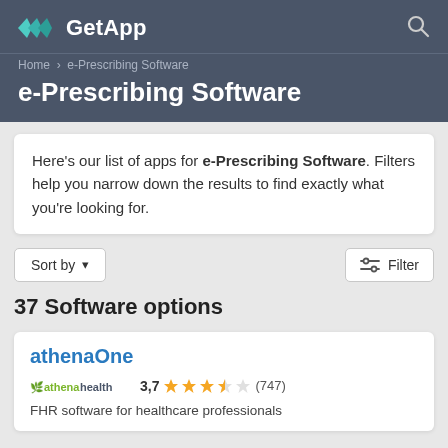GetApp
e-Prescribing Software
Here's our list of apps for e-Prescribing Software. Filters help you narrow down the results to find exactly what you're looking for.
37 Software options
athenaOne
3,7 (747)
FHR software for healthcare professionals